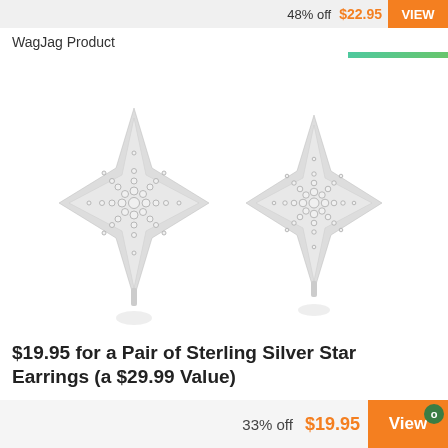48% off  $22.95  VIEW
WagJag Product
[Figure (photo): A pair of sterling silver star stud earrings with cubic zirconia stones arranged in an 8-pointed star shape, shown on white background with subtle reflections below each earring.]
$19.95 for a Pair of Sterling Silver Star Earrings (a $29.99 Value)
33% off  $19.95  View